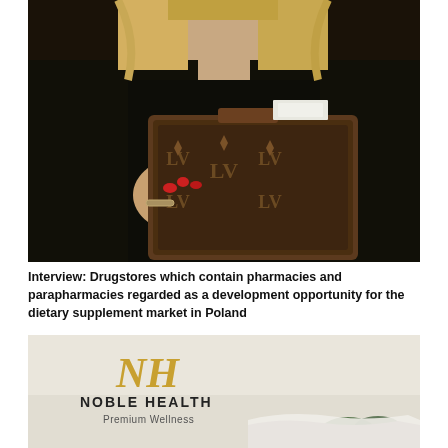[Figure (photo): A blonde woman dressed in black holding a Louis Vuitton monogram clutch/portfolio bag with red manicured nails, wearing a bracelet. Close-up torso and hands shot.]
Interview: Drugstores which contain pharmacies and parapharmacies regarded as a development opportunity for the dietary supplement market in Poland
[Figure (logo): Noble Health Premium Wellness logo with gold NH monogram letters and company name on a light greenish-beige background with some greenery/plant leaves visible at bottom.]